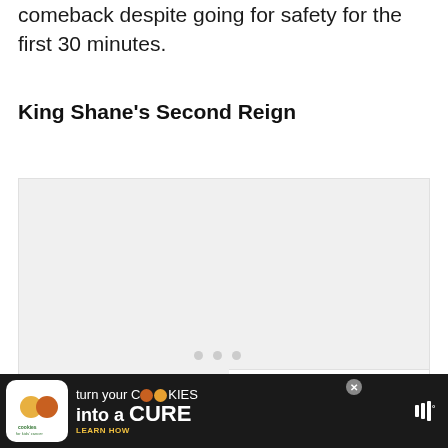comeback despite going for safety for the first 30 minutes.
King Shane's Second Reign
[Figure (photo): Image placeholder area with light gray background, three pagination dots at bottom, share widget with count 0 and share icon on right side, and a 'What's Next' panel showing a thumbnail and text 'Everything You Need to...']
WHAT'S NEXT – Everything You Need to.